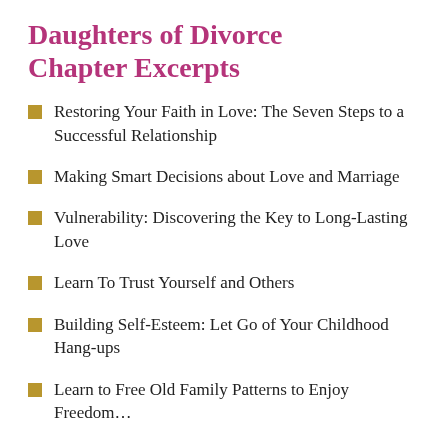Daughters of Divorce Chapter Excerpts
Restoring Your Faith in Love: The Seven Steps to a Successful Relationship
Making Smart Decisions about Love and Marriage
Vulnerability: Discovering the Key to Long-Lasting Love
Learn To Trust Yourself and Others
Building Self-Esteem: Let Go of Your Childhood Hang-ups
Learn to Free Old Family Patterns to Enjoy Freedom...